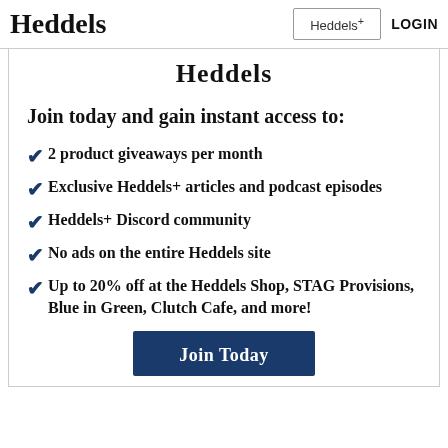Heddels | Heddels+ | LOGIN
Heddels
Join today and gain instant access to:
2 product giveaways per month
Exclusive Heddels+ articles and podcast episodes
Heddels+ Discord community
No ads on the entire Heddels site
Up to 20% off at the Heddels Shop, STAG Provisions, Blue in Green, Clutch Cafe, and more!
Join Today